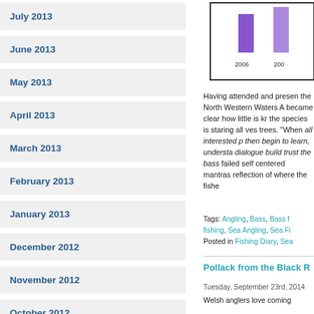July 2013
June 2013
May 2013
April 2013
March 2013
February 2013
January 2013
December 2012
November 2012
October 2012
September 2012
August 2012
[Figure (bar-chart): Partial bar chart visible at top right, cut off at right edge, showing years 2006 2007 with colored bars]
Having attended and presen the North Western Waters A became clear how little is kr the species is staring all ves trees. "When all interested p then begin to learn, understa dialogue build trust the bass failed self centered mantras reflection of where the fishe
Tags: Angling, Bass, Bass f fishing, Sea Angling, Sea Fi Posted in Fishing Diary, Sea
Pollack from the Black R
Tuesday, September 23rd, 2014
Welsh anglers love coming